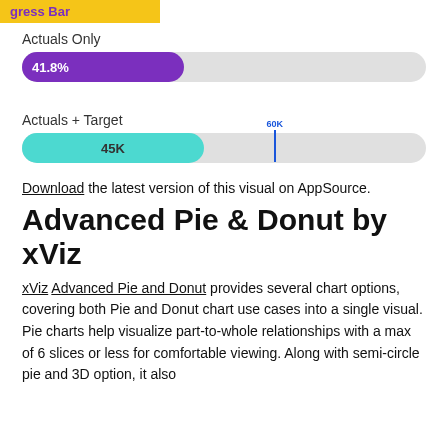[Figure (infographic): Progress bar chart showing 'Actuals Only' with a purple filled bar at 41.8%, and 'Actuals + Target' with a cyan filled bar at 45K with a blue target marker at 60K]
Download the latest version of this visual on AppSource.
Advanced Pie & Donut by xViz
xViz Advanced Pie and Donut provides several chart options, covering both Pie and Donut chart use cases into a single visual. Pie charts help visualize part-to-whole relationships with a max of 6 slices or less for comfortable viewing. Along with semi-circle pie and 3D option, it also